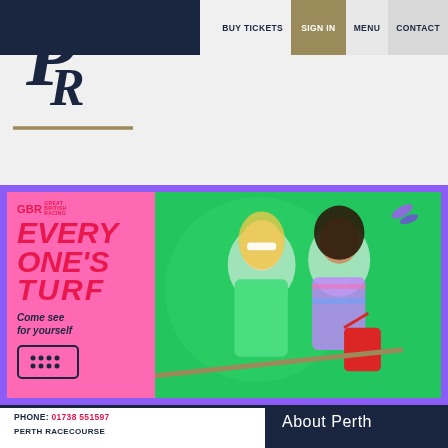BUY TICKETS | SIGN IN | MENU | CONTACT
[Figure (logo): Perth Racecourse PR logo in navy blue with gold underline]
[Figure (photo): GBR Everyone's Turf banner advertisement with two women in colourful outfits on green and pink background. Text: GBR, EVERY ONE'S TURF, Come see for yourself, Book Now button]
PHONE: 01738 551597
PERTH RACECOURSE
About Perth